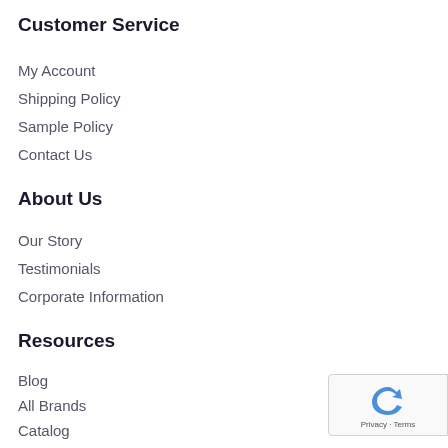Customer Service
My Account
Shipping Policy
Sample Policy
Contact Us
About Us
Our Story
Testimonials
Corporate Information
Resources
Blog
All Brands
Catalog
Trade Program
FAQs